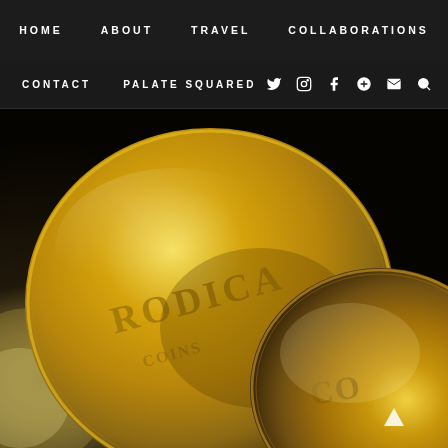HOME   ABOUT   TRAVEL   COLLABORATIONS
CONTACT   PALATE SQUARED   [search icon]   [twitter] [instagram] [facebook] [google+] [email]
[Figure (photo): Close-up photograph of gold chocolate coins with embossed text reading 'RODICA' or similar, showing two large gold foil-wrapped chocolate coins stacked/overlapping on a dark surface, with warm golden lighting]